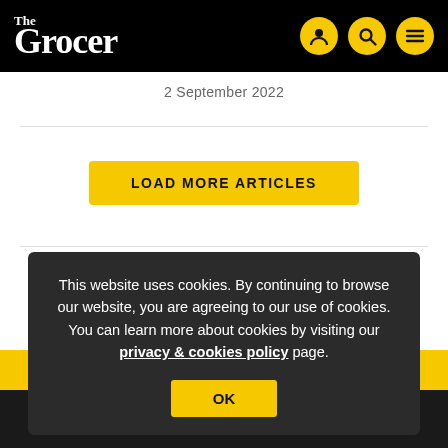The Grocer
2 September 2022
LOAD MORE ARTICLES
This website uses cookies. By continuing to browse our website, you are agreeing to our use of cookies. You can learn more about cookies by visiting our privacy & cookies policy page.
OK
Supermarkets & Discounters